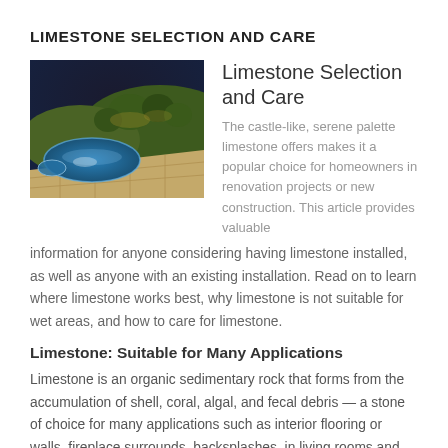LIMESTONE SELECTION AND CARE
[Figure (photo): Outdoor limestone pool deck area at night with stone paving around a circular pool and landscaping with lit trees in the background]
Limestone Selection and Care
The castle-like, serene palette limestone offers makes it a popular choice for homeowners in renovation projects or new construction. This article provides valuable information for anyone considering having limestone installed, as well as anyone with an existing installation. Read on to learn where limestone works best, why limestone is not suitable for wet areas, and how to care for limestone.
Limestone: Suitable for Many Applications
Limestone is an organic sedimentary rock that forms from the accumulation of shell, coral, algal, and fecal debris — a stone of choice for many applications such as interior flooring or walls, fireplace surrounds, backsplashes, in living rooms and recreation rooms, and more. There are many different types of limestone. One of the most